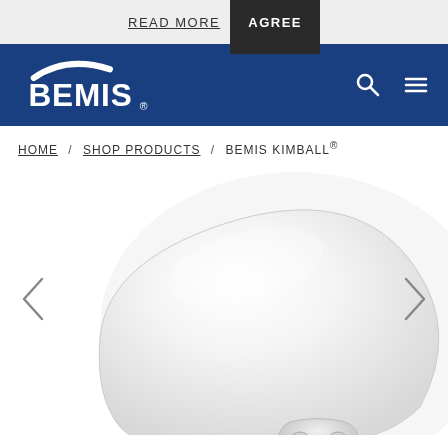READ MORE  AGREE
[Figure (logo): BEMIS logo on dark blue navigation bar with search and menu icons]
HOME / SHOP PRODUCTS / BEMIS KIMBALL®
[Figure (photo): White toilet seat (Bemis Kimball) photographed at an angle showing the rounded lid and hinge]